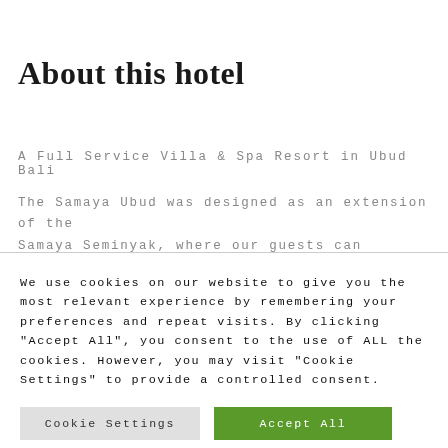About this hotel
A Full Service Villa & Spa Resort in Ubud Bali
The Samaya Ubud was designed as an extension of the Samaya Seminyak, where our guests can experience the
We use cookies on our website to give you the most relevant experience by remembering your preferences and repeat visits. By clicking "Accept All", you consent to the use of ALL the cookies. However, you may visit "Cookie Settings" to provide a controlled consent.
Cookie Settings | Accept All